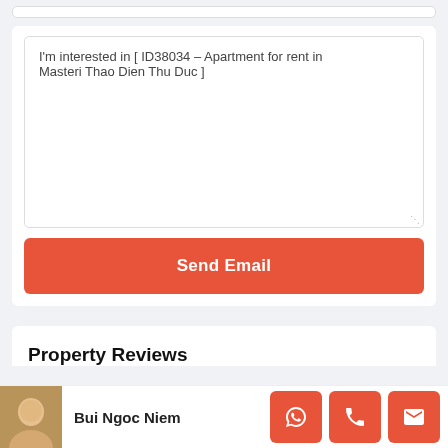I'm interested in [ ID38034 – Apartment for rent in Masteri Thao Dien Thu Duc ]
Send Email
Property Reviews
Bui Ngoc Niem